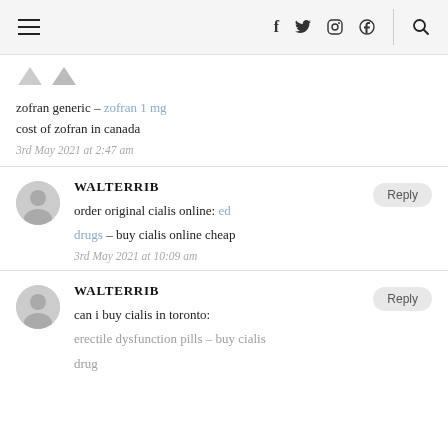Navigation header with hamburger menu, social icons (f, twitter, instagram, pinterest), and search
zofran generic – zofran 1 mg cost of zofran in canada
3rd May 2021 at 2:47 am
WALTERRIB
order original cialis online: ed drugs – buy cialis online cheap
3rd May 2021 at 10:09 am
WALTERRIB
can i buy cialis in toronto: erectile dysfunction pills – buy cialis drug